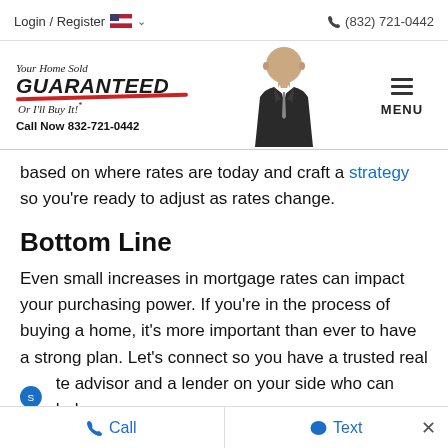Login / Register   (832) 721-0442
[Figure (logo): Your Home Sold GUARANTEED Or I'll Buy It!* logo with man in suit and Call Now 832-721-0442 text, plus hamburger MENU icon]
based on where rates are today and craft a strategy so you're ready to adjust as rates change.
Bottom Line
Even small increases in mortgage rates can impact your purchasing power. If you're in the process of buying a home, it's more important than ever to have a strong plan. Let's connect so you have a trusted real estate advisor and a lender on your side who can help
Call   Text   ×